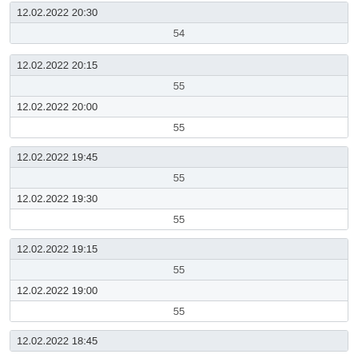| 12.02.2022 20:30 |  |
| --- | --- |
|  | 54 |
| 12.02.2022 20:15 |  |
| --- | --- |
|  | 55 |
| 12.02.2022 20:00 |  |
| --- | --- |
|  | 55 |
| 12.02.2022 19:45 |  |
| --- | --- |
|  | 55 |
| 12.02.2022 19:30 |  |
| --- | --- |
|  | 55 |
| 12.02.2022 19:15 |  |
| --- | --- |
|  | 55 |
| 12.02.2022 19:00 |  |
| --- | --- |
|  | 55 |
| 12.02.2022 18:45 |  |
| --- | --- |